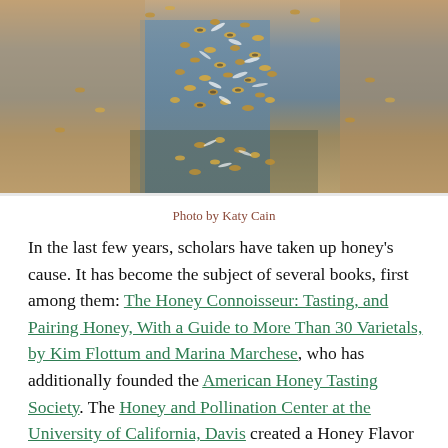[Figure (photo): Close-up photograph of a swarm of bees covering a blue surface, shot by Katy Cain]
Photo by Katy Cain
In the last few years, scholars have taken up honey's cause. It has become the subject of several books, first among them: The Honey Connoisseur: Tasting, and Pairing Honey, With a Guide to More Than 30 Varietals, by Kim Flottum and Marina Marchese, who has additionally founded the American Honey Tasting Society. The Honey and Pollination Center at the University of California, Davis created a Honey Flavor and Aroma Wheel to help honey tasters identify the complex flavors they're experiencing in their honey tastings. The